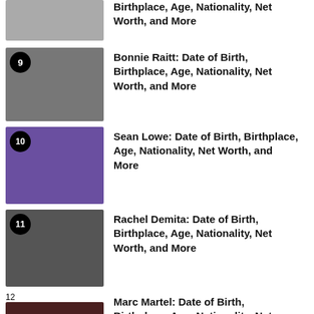Birthplace, Age, Nationality, Net Worth, and More (partial, top)
9 - Bonnie Raitt: Date of Birth, Birthplace, Age, Nationality, Net Worth, and More
10 - Sean Lowe: Date of Birth, Birthplace, Age, Nationality, Net Worth, and More
11 - Rachel Demita: Date of Birth, Birthplace, Age, Nationality, Net Worth, and More
12 - Marc Martel: Date of Birth, Birthplace, Age, Nationality, Net Worth, and More (partial, bottom)